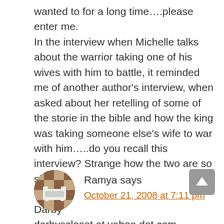wanted to for a long time….please enter me. In the interview when Michelle talks about the warrior taking one of his wives with him to battle, it reminded me of another author's interview, when asked about her retelling of some of the storie in the bible and how the king was taking someone else's wife to war with him…..do you recall this interview? Strange how the two are so similiar! Thanks Darby darbyscloset at yahoo dot com
[Figure (illustration): Circular avatar icon with brown/tan checkerboard pattern and a stylized sofa/couch icon in the center]
Ramya says
October 21, 2008 at 7:11 pm